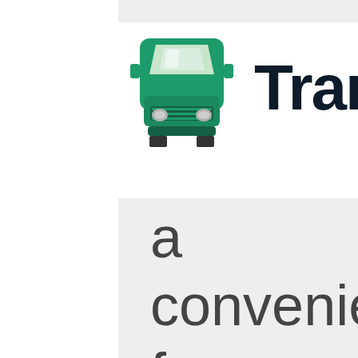[Figure (logo): Green semi-truck / freight truck icon viewed from front]
Transp
a convenience fee for